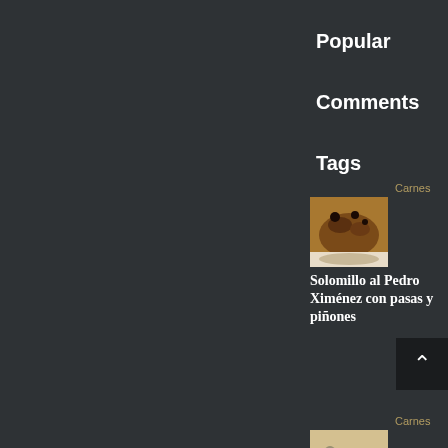Popular
Comments
Tags
Carnes
[Figure (photo): Photo of Solomillo al Pedro Ximénez with raisins and pine nuts on a white plate]
Solomillo al Pedro Ximénez con pasas y piñones
Carnes
[Figure (photo): Photo of Solomillo de cerdo con nata y setas on a white plate]
Solomillo de cerdo con nata y setas